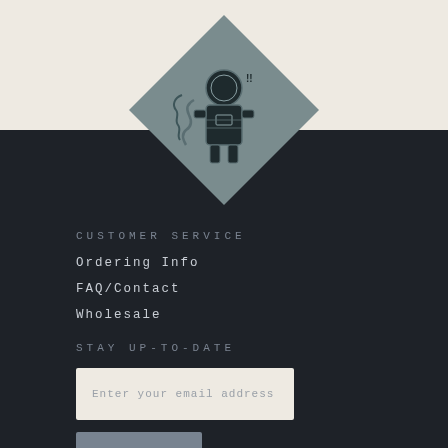[Figure (logo): Diamond-shaped logo with illustrated astronaut/diver figure in grey tones on a cream background, positioned at the top center of the page spanning both the cream header and dark body sections]
CUSTOMER SERVICE
Ordering Info
FAQ/Contact
Wholesale
STAY UP-TO-DATE
Enter your email address
SIGN UP
SOCIAL OMNIPRESENCE